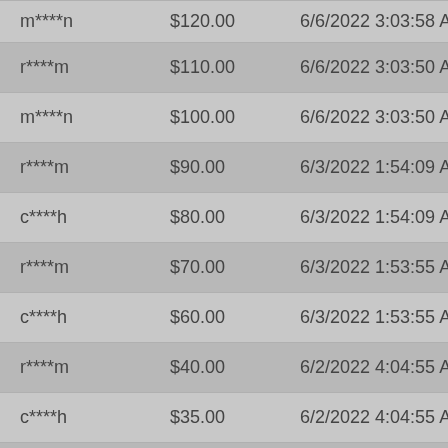| Username | Amount | Date |
| --- | --- | --- |
| m****n | $120.00 | 6/6/2022 3:03:58 AM |
| r****m | $110.00 | 6/6/2022 3:03:50 AM |
| m****n | $100.00 | 6/6/2022 3:03:50 AM |
| r****m | $90.00 | 6/3/2022 1:54:09 AM |
| c****h | $80.00 | 6/3/2022 1:54:09 AM |
| r****m | $70.00 | 6/3/2022 1:53:55 AM |
| c****h | $60.00 | 6/3/2022 1:53:55 AM |
| r****m | $40.00 | 6/2/2022 4:04:55 AM |
| c****h | $35.00 | 6/2/2022 4:04:55 AM |
| r****m | $30.00 | 5/25/2022 12:11:25 P |